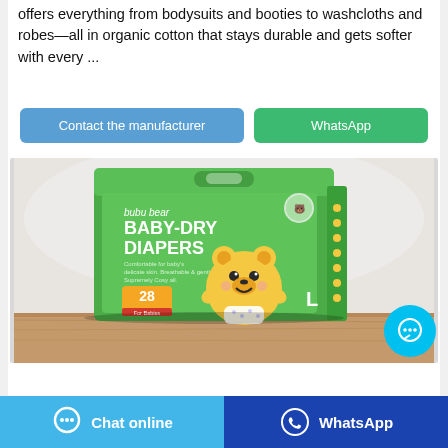offers everything from bodysuits and booties to washcloths and robes—all in organic cotton that stays durable and gets softer with every ...
Contact the manufacturer | WhatsApp
[Figure (photo): Product photo of Bubu Bear Baby-Dry Diapers package (28 count, size L) in green packaging with cartoon bear mascot, placed on wooden surface with white fabric background]
Chat online | WhatsApp